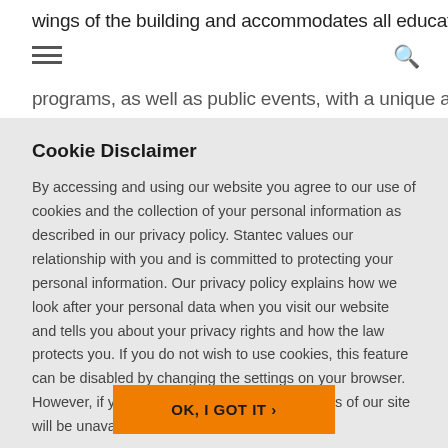wings of the building and accommodates all education programs, as well as public events, with a unique array of
Cookie Disclaimer
By accessing and using our website you agree to our use of cookies and the collection of your personal information as described in our privacy policy. Stantec values our relationship with you and is committed to protecting your personal information. Our privacy policy explains how we look after your personal data when you visit our website and tells you about your privacy rights and how the law protects you. If you do not wish to use cookies, this feature can be disabled by changing the settings on your browser. However, if you do disable cookies, certain parts of our site will be unavailable to you. Read More
OK, I GOT IT ›